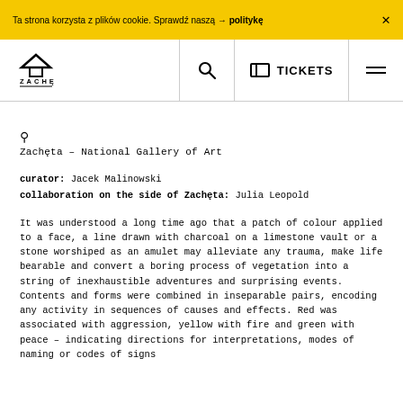Ta strona korzysta z plików cookie. Sprawdź naszą → politykę  X
ZACHĘTA  [search] [tickets] TICKETS [menu]
Zachęta – National Gallery of Art
curator: Jacek Malinowski
collaboration on the side of Zachęta: Julia Leopold
It was understood a long time ago that a patch of colour applied to a face, a line drawn with charcoal on a limestone vault or a stone worshiped as an amulet may alleviate any trauma, make life bearable and convert a boring process of vegetation into a string of inexhaustible adventures and surprising events. Contents and forms were combined in inseparable pairs, encoding any activity in sequences of causes and effects. Red was associated with aggression, yellow with fire and green with peace – indicating directions for interpretations, modes of naming or codes of signs